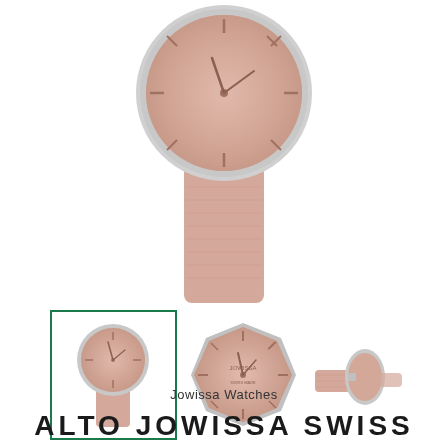[Figure (photo): Main product photo of the Alto Jowissa Swiss Watch showing a close-up of the watch face and pink leather strap from the front, with a silver bezel and rose gold dial, photographed on white background]
[Figure (photo): Three thumbnail images of the watch: first thumbnail in green border showing full watch front view with pink leather strap, second thumbnail showing close-up of the octagonal rose gold dial face with Jowissa branding, third thumbnail showing side/back angle of watch with strap]
Jowissa Watches
ALTO JOWISSA SWISS WATCH